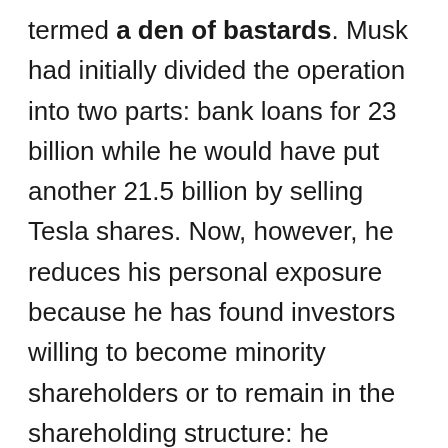termed a den of bastards. Musk had initially divided the operation into two parts: bank loans for 23 billion while he would have put another 21.5 billion by selling Tesla shares. Now, however, he reduces his personal exposure because he has found investors willing to become minority shareholders or to remain in the shareholding structure: he therefore no longer needs to take over the entire capital of the company. In a few days Musk has raised 7.1